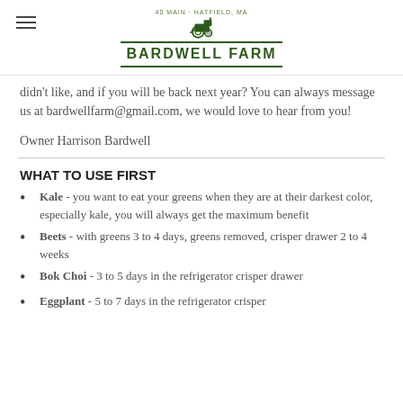BARDWELL FARM
didn't like, and if you will be back next year? You can always message us at bardwellfarm@gmail.com, we would love to hear from you!
Owner Harrison Bardwell
WHAT TO USE FIRST
Kale - you want to eat your greens when they are at their darkest color, especially kale, you will always get the maximum benefit
Beets - with greens 3 to 4 days, greens removed, crisper drawer 2 to 4 weeks
Bok Choi - 3 to 5 days in the refrigerator crisper drawer
Eggplant - 5 to 7 days in the refrigerator crisper